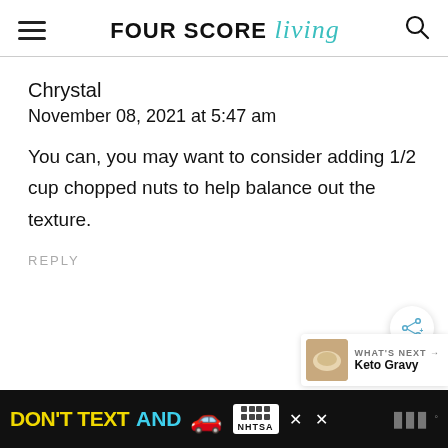FOUR SCORE living
Chrystal
November 08, 2021 at 5:47 am
You can, you may want to consider adding 1/2 cup chopped nuts to help balance out the texture.
REPLY
[Figure (screenshot): Share button (floating circle with share icon)]
[Figure (infographic): What's Next bar showing Keto Gravy thumbnail and label]
[Figure (infographic): Ad banner: DON'T TEXT AND [car emoji] with NHTSA branding on black background]